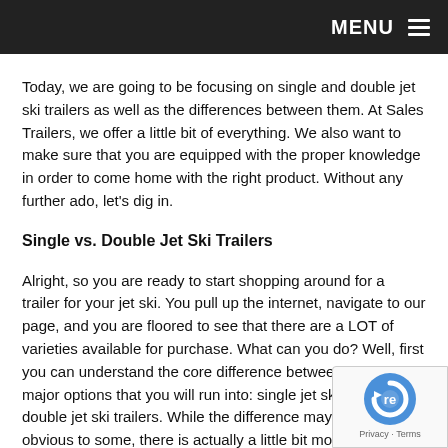MENU
Today, we are going to be focusing on single and double jet ski trailers as well as the differences between them. At Sales Trailers, we offer a little bit of everything. We also want to make sure that you are equipped with the proper knowledge in order to come home with the right product. Without any further ado, let's dig in.
Single vs. Double Jet Ski Trailers
Alright, so you are ready to start shopping around for a trailer for your jet ski. You pull up the internet, navigate to our page, and you are floored to see that there are a LOT of varieties available for purchase. What can you do? Well, first you can understand the core difference between the two major options that you will run into: single jet ski trailers and double jet ski trailers. While the difference may seem obvious to some, there is actually a little bit more going on underneath the surface.
[Figure (logo): reCAPTCHA badge with logo and Privacy - Terms text]